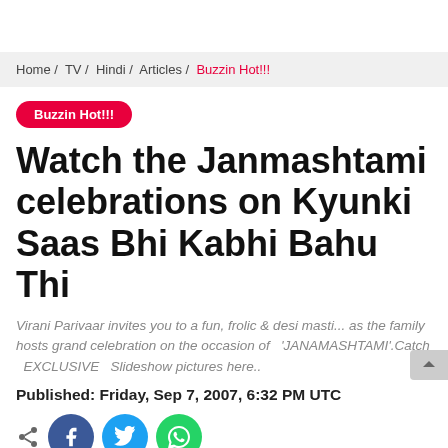Home / TV / Hindi / Articles / Buzzin Hot!!!
Buzzin Hot!!!
Watch the Janmashtami celebrations on Kyunki Saas Bhi Kabhi Bahu Thi
Virani Parivaar invites you to a fun, frolic & desi masti... as the family hosts grand celebration on the occasion of 'JANAMASHTAMI'.Catch EXCLUSIVE Slideshow pictures here..
Published: Friday, Sep 7, 2007, 6:32 PM UTC
[Figure (other): Social share icons: share, Facebook, Twitter, WhatsApp]
[Figure (other): Author avatar circle and partial author profile text]